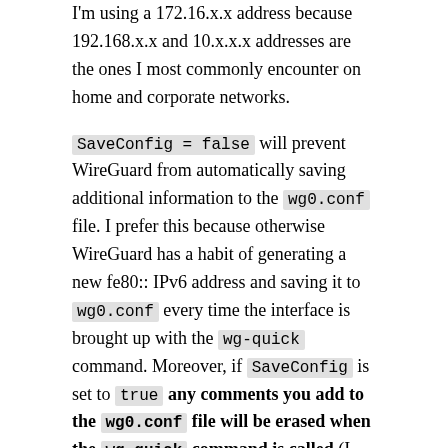I'm using a 172.16.x.x address because 192.168.x.x and 10.x.x.x addresses are the ones I most commonly encounter on home and corporate networks.
SaveConfig = false will prevent WireGuard from automatically saving additional information to the wg0.conf file. I prefer this because otherwise WireGuard has a habit of generating a new fe80:: IPv6 address and saving it to wg0.conf every time the interface is brought up with the wg-quick command. Moreover, if SaveConfig is set to true any comments you add to the wg0.conf file will be erased when the wg-quick command is called (I tend to heavily comment my files so this is a big issue to me).
ListenPort indicates what port you want the